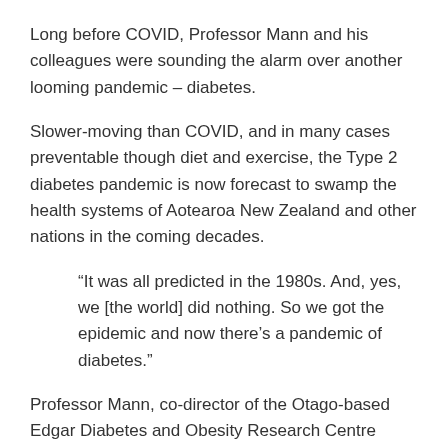Long before COVID, Professor Mann and his colleagues were sounding the alarm over another looming pandemic – diabetes.
Slower-moving than COVID, and in many cases preventable though diet and exercise, the Type 2 diabetes pandemic is now forecast to swamp the health systems of Aotearoa New Zealand and other nations in the coming decades.
“It was all predicted in the 1980s. And, yes, we [the world] did nothing. So we got the epidemic and now there’s a pandemic of diabetes.”
Professor Mann, co-director of the Otago-based Edgar Diabetes and Obesity Research Centre (EDOR) and Director of the Healthier Lives National Science Challenge, wants the Government to make nutrition a key part of its health policy to tackle this crisis.
“They need to take what people eat as seriously as